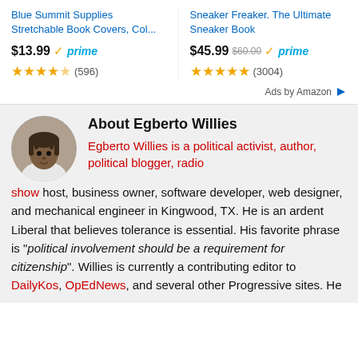Blue Summit Supplies Stretchable Book Covers, Col...
$13.99 prime ★★★★☆ (596)
Sneaker Freaker. The Ultimate Sneaker Book
$45.99 $60.00 prime ★★★★★ (3004)
Ads by Amazon
About Egberto Willies
Egberto Willies is a political activist, author, political blogger, radio show host, business owner, software developer, web designer, and mechanical engineer in Kingwood, TX. He is an ardent Liberal that believes tolerance is essential. His favorite phrase is "political involvement should be a requirement for citizenship". Willies is currently a contributing editor to DailyKos, OpEdNews, and several other Progressive sites. He